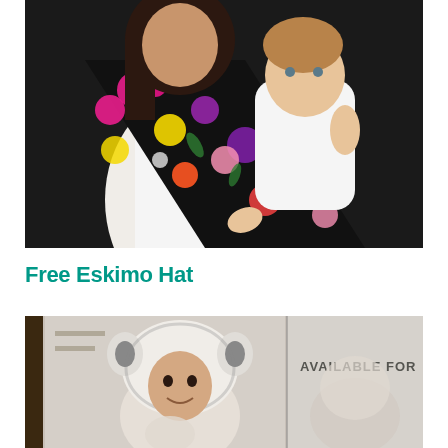[Figure (photo): A woman in a white tank top carrying a baby in a colorful floral black-background ring sling/baby carrier. The woman has long dark hair and the baby has light brown hair wearing a white onesie. Dark background.]
Free Eskimo Hat
[Figure (photo): A person wearing a fluffy white/gray eskimo animal hat with ears, smiling at camera. Partially visible second panel showing 'AVAILABLE FOR' text overlay on similar scene.]